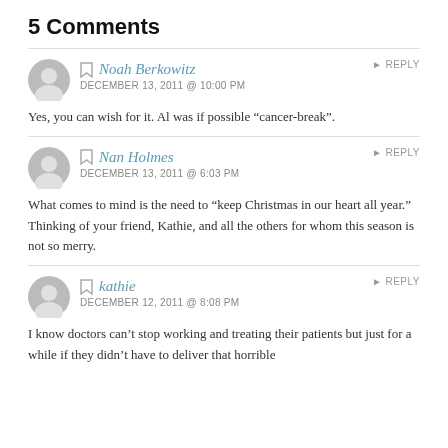5 Comments
Noah Berkowitz
DECEMBER 13, 2011 @ 10:00 PM
Yes, you can wish for it. Al was if possible “cancer-break”.
Nan Holmes
DECEMBER 13, 2011 @ 6:03 PM
What comes to mind is the need to “keep Christmas in our heart all year.” Thinking of your friend, Kathie, and all the others for whom this season is not so merry.
kathie
DECEMBER 12, 2011 @ 8:08 PM
I know doctors can’t stop working and treating their patients but just for a while if they didn’t have to deliver that horrible